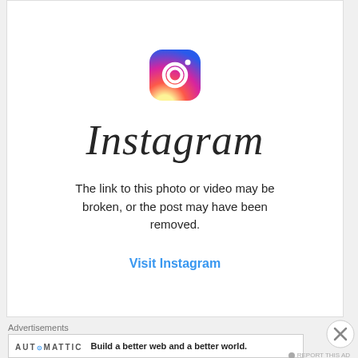[Figure (logo): Instagram app icon/logo - rounded square gradient from yellow/orange to pink/purple with a camera outline in white]
Instagram
The link to this photo or video may be broken, or the post may have been removed.
Visit Instagram
Advertisements
[Figure (logo): Automattic logo text in small caps]
Build a better web and a better world.
REPORT THIS AD